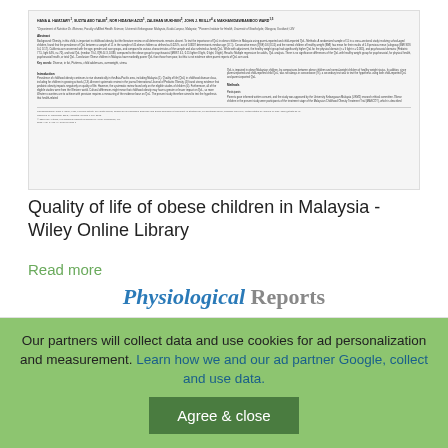[Figure (screenshot): Screenshot of a Wiley Online Library article page showing authors, affiliations, abstract, and introduction sections of a paper about quality of life of obese children in Malaysia]
Quality of life of obese children in Malaysia - Wiley Online Library
Read more
[Figure (screenshot): Partial view of Physiological Reports journal logo/header]
Our partners will collect data and use cookies for ad personalization and measurement. Learn how we and our ad partner Google, collect and use data.
Agree & close